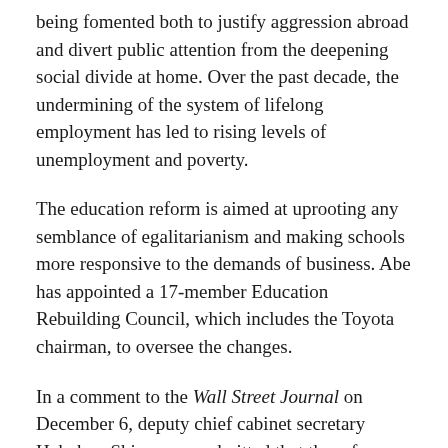being fomented both to justify aggression abroad and divert public attention from the deepening social divide at home. Over the past decade, the undermining of the system of lifelong employment has led to rising levels of unemployment and poverty.
The education reform is aimed at uprooting any semblance of egalitarianism and making schools more responsive to the demands of business. Abe has appointed a 17-member Education Rebuilding Council, which includes the Toyota chairman, to oversee the changes.
In a comment to the Wall Street Journal on December 6, deputy chief cabinet secretary Hakubun Shimomura admitted that the reform was a “risky endeavour” due to widespread public opposition and an upper-house election due in July. “However, the prime minister has no choice because time is not on our side,” he said, adding that the need for “productivity” had to be impressed on